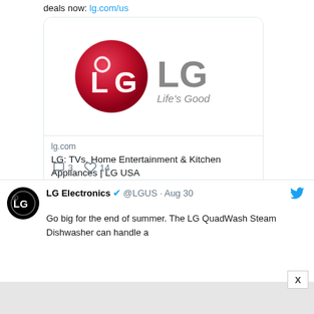deals now: lg.com/us
[Figure (logo): LG Electronics logo - red circle with L and G letters, text 'LG' in large gray letters, 'Life's Good' tagline]
lg.com
LG: TVs, Home Entertainment & Kitchen Appliances | LG USA
3   14
LG Electronics @LGUS · Aug 30
[Figure (logo): LG Electronics circular black avatar logo]
Go big for the end of summer. The LG QuadWash Steam Dishwasher can handle a